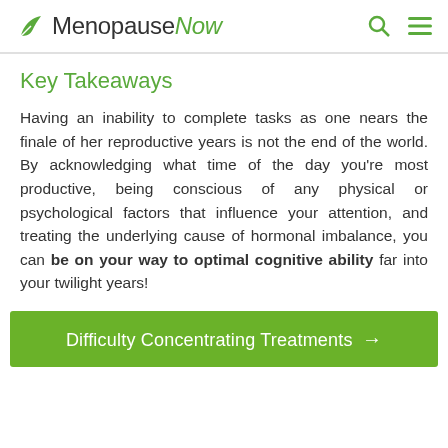MenopauseNow
Key Takeaways
Having an inability to complete tasks as one nears the finale of her reproductive years is not the end of the world. By acknowledging what time of the day you're most productive, being conscious of any physical or psychological factors that influence your attention, and treating the underlying cause of hormonal imbalance, you can be on your way to optimal cognitive ability far into your twilight years!
Difficulty Concentrating Treatments →